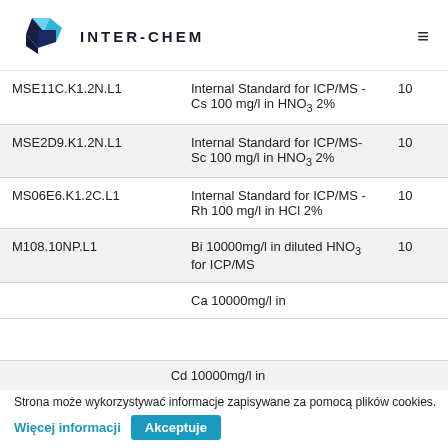INTER-CHEM
| Code | Description | Qty |
| --- | --- | --- |
| MSE11C.K1.2N.L1 | Internal Standard for ICP/MS - Cs 100 mg/l in HNO3 2% | 100 |
| MSE2D9.K1.2N.L1 | Internal Standard for ICP/MS-Sc 100 mg/l in HNO3 2% | 100 |
| MS06E6.K1.2C.L1 | Internal Standard for ICP/MS - Rh 100 mg/l in HCl 2% | 100 |
| M108.10NP.L1 | Bi 10000mg/l in diluted HNO3 for ICP/MS | 100 |
|  | Ca 10000mg/l in |  |
|  | Cd 10000mg/l in |  |
Strona może wykorzystywać informacje zapisywane za pomocą plików cookies.
Więcej informacji
Akceptuje